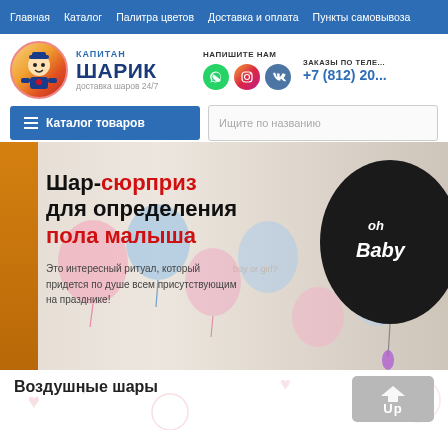Главная   Каталог   Палитра цветов   Доставка и оплата   Пункты самовывоза
[Figure (logo): Капитан Шарик logo — cartoon captain character in circle, with text КАПИТАН ШАРИК доставка шаров 24/7]
НАПИШИТЕ НАМ (WhatsApp, Instagram, VK icons)
ЗАКАЗЫ ПО ТЕЛЕ... +7 (812) 20...
≡  Каталог товаров
Ищите по названию
[Figure (photo): Banner with colorful balloons background. Large black balloon with 'oh Baby' text. Left orange strip. Main heading: Шар-сюрприз для определения пола малыша (black and red text). Description: Это интересный ритуал, который придется по душе всем присутствующим на празднике!]
Воздушные шары
[Figure (illustration): Up button with house/arrow icon and text 'Up']